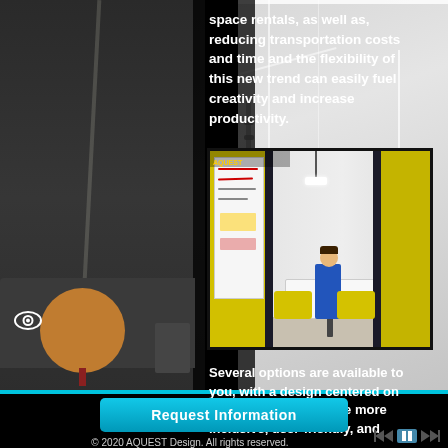space rentals, as well as, reducing transportation costs and time and the flexibility of this new trend can easily fuel creativity and increase productivity.
[Figure (photo): Interior photo of a modern office collaborative booth with yellow upholstered panels and seating. A person in blue sits at a white table surrounded by yellow booth dividers. A whiteboard with markings is visible on the left wall.]
Several options are available to you, with a design centered on the user, we can create more inclusive, user-friendly, and
Request Information
© 2020 AQUEST Design. All rights reserved.